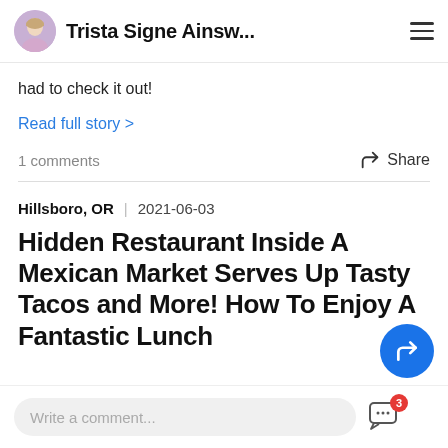Trista Signe Ainsw...
had to check it out!
Read full story >
1 comments
Share
Hillsboro, OR  |  2021-06-03
Hidden Restaurant Inside A Mexican Market Serves Up Tasty Tacos and More! How To Enjoy A Fantastic Lunch
Write a comment...